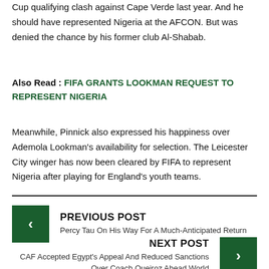Cup qualifying clash against Cape Verde last year. And he should have represented Nigeria at the AFCON. But was denied the chance by his former club Al-Shabab.
Also Read : FIFA GRANTS LOOKMAN REQUEST TO REPRESENT NIGERIA
Meanwhile, Pinnick also expressed his happiness over Ademola Lookman's availability for selection. The Leicester City winger has now been cleared by FIFA to represent Nigeria after playing for England's youth teams.
PREVIOUS POST
Percy Tau On His Way For A Much-Anticipated Return
NEXT POST
CAF Accepted Egypt's Appeal And Reduced Sanctions Over Coach Queiroz Ahead World